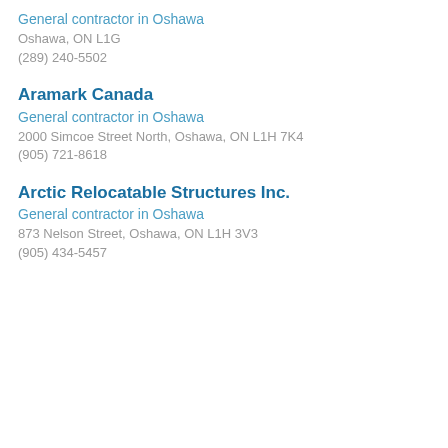General contractor in Oshawa
Oshawa, ON L1G
(289) 240-5502
Aramark Canada
General contractor in Oshawa
2000 Simcoe Street North, Oshawa, ON L1H 7K4
(905) 721-8618
Arctic Relocatable Structures Inc.
General contractor in Oshawa
873 Nelson Street, Oshawa, ON L1H 3V3
(905) 434-5457